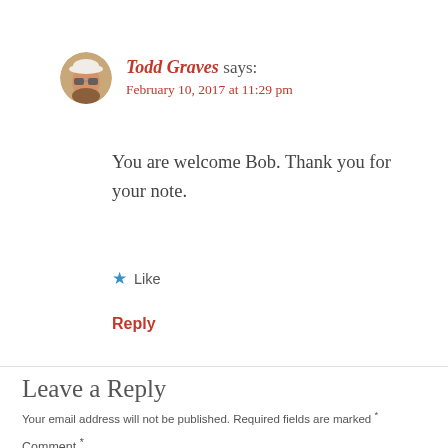[Figure (illustration): Circular avatar photo of Todd Graves wearing a white cap and sunglasses]
Todd Graves says:
February 10, 2017 at 11:29 pm
You are welcome Bob. Thank you for your note.
★ Like
Reply
Leave a Reply
Your email address will not be published. Required fields are marked *
Comment *